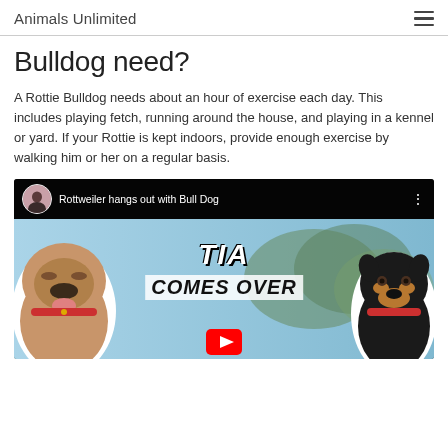Animals Unlimited
Bulldog need?
A Rottie Bulldog needs about an hour of exercise each day. This includes playing fetch, running around the house, and playing in a kennel or yard. If your Rottie is kept indoors, provide enough exercise by walking him or her on a regular basis.
[Figure (screenshot): YouTube video thumbnail titled 'Rottweiler hangs out with Bull Dog' showing a bulldog on the left and a rottweiler on the right with text overlay reading 'TIA COMES OVER']